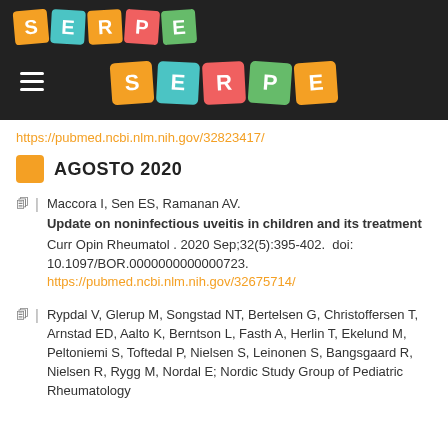[Figure (logo): SERPE logo tiles in top-left of dark navigation bar]
[Figure (logo): SERPE logo tiles centered in dark navigation bar]
https://pubmed.ncbi.nlm.nih.gov/32823417/
AGOSTO 2020
Maccora I, Sen ES, Ramanan AV. Update on noninfectious uveitis in children and its treatment Curr Opin Rheumatol . 2020 Sep;32(5):395-402.  doi: 10.1097/BOR.0000000000000723. https://pubmed.ncbi.nlm.nih.gov/32675714/
Rypdal V, Glerup M, Songstad NT, Bertelsen G, Christoffersen T, Arnstad ED, Aalto K, Berntson L, Fasth A, Herlin T, Ekelund M, Peltoniemi S, Toftedal P, Nielsen S, Leinonen S, Bangsgaard R, Nielsen R, Rygg M, Nordal E; Nordic Study Group of Pediatric Rheumatology